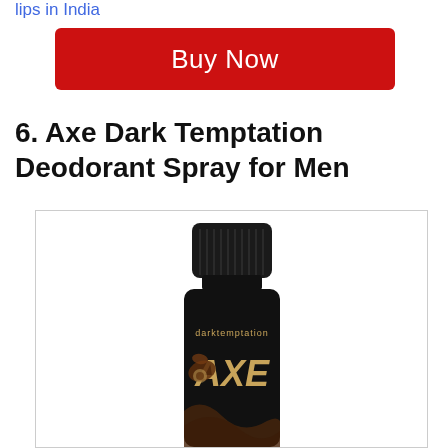lips in India
Buy Now
6. Axe Dark Temptation Deodorant Spray for Men
[Figure (photo): Axe Dark Temptation Deodorant Spray can with black and gold design, showing 'darktemptation' label and AXE logo with swirling chocolate-themed graphics]